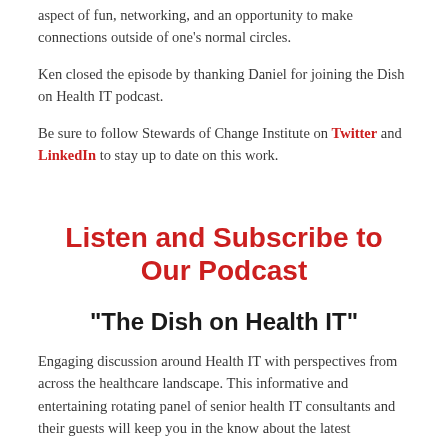aspect of fun, networking, and an opportunity to make connections outside of one's normal circles.
Ken closed the episode by thanking Daniel for joining the Dish on Health IT podcast.
Be sure to follow Stewards of Change Institute on Twitter and LinkedIn to stay up to date on this work.
Listen and Subscribe to Our Podcast
"The Dish on Health IT"
Engaging discussion around Health IT with perspectives from across the healthcare landscape. This informative and entertaining rotating panel of senior health IT consultants and their guests will keep you in the know about the latest